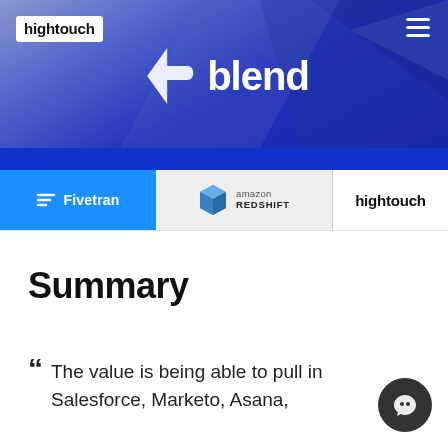hightouch
[Figure (logo): Blend logo with stylized B icon and text 'blend' in white on blue/purple gradient background]
[Figure (logo): Tool logos bar: Fivetran (blue background), Amazon Redshift, hightouch]
Summary
The value is being able to pull in Salesforce, Marketo, Asana,